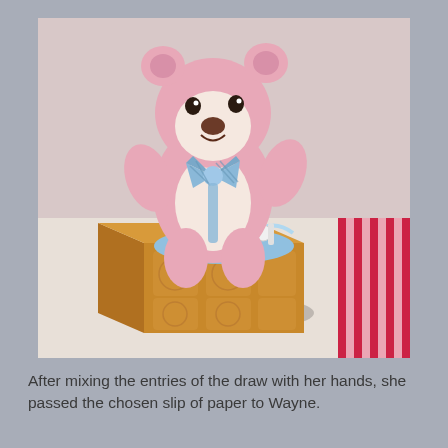[Figure (photo): A pink and white teddy bear with a blue bow tie sitting behind a decorated cardboard box filled with blue tissue paper and small items, placed on a white table with a red striped cloth visible on the right side.]
After mixing the entries of the draw with her hands, she passed the chosen slip of paper to Wayne.